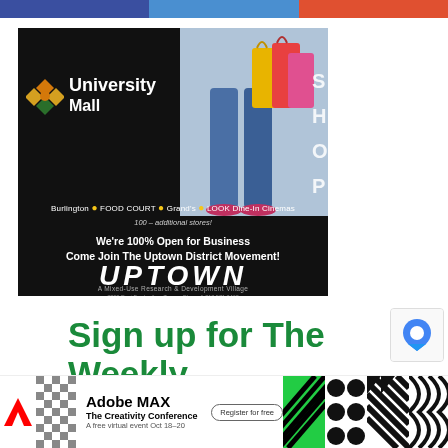[Figure (infographic): Three-color horizontal bar at top: dark blue, medium blue, orange-red segments]
[Figure (infographic): University Mall advertisement on black background. Shows University Mall logo with diamond pattern icon, shopping bags photo, store names: Burlington, FOOD COURT, Grand's, LOOK Dine-In Cinemas, 100+ additional stores. Text: We're 100% Open for Business, Come Join The Uptown District Movement! UPTOWN large text, A Mixed-Use Research & Development Village, address 3800 East Fowler Ave, Tampa, FL.]
Sign up for The Weekly Roundup!
[Figure (infographic): Adobe MAX - The Creativity Conference banner advertisement. A free virtual event Oct 18-20. Register for free button. Colorful pattern strips on right side.]